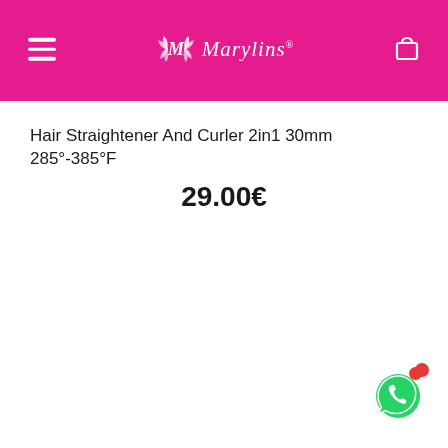Marylins
Hair Straightener And Curler 2in1 30mm 285°-385°F
29.00€
[Figure (logo): WhatsApp contact button icon, green speech bubble with phone handset, with a red notification dot above it]